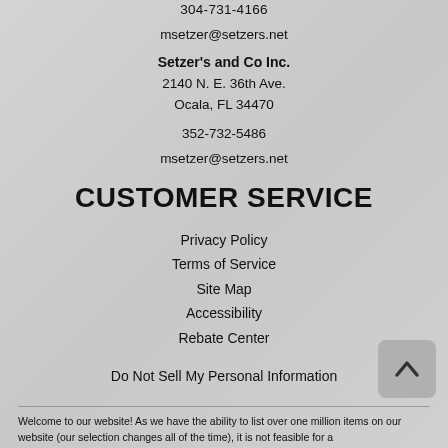304-731-4166
msetzer@setzers.net
Setzer's and Co Inc.
2140 N. E. 36th Ave.
Ocala, FL 34470
352-732-5486
msetzer@setzers.net
CUSTOMER SERVICE
Privacy Policy
Terms of Service
Site Map
Accessibility
Rebate Center
Do Not Sell My Personal Information
Welcome to our website! As we have the ability to list over one million items on our website (our selection changes all of the time), it is not feasible for a